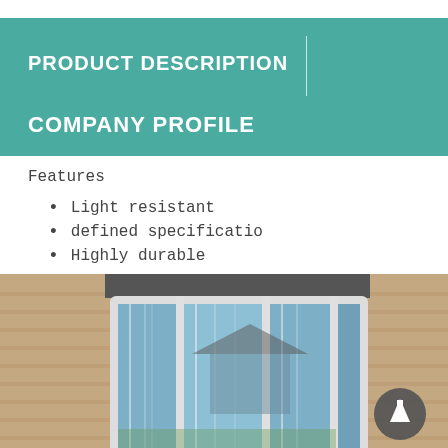PRODUCT DESCRIPTION
COMPANY PROFILE
Features
Light resistant
defined specificatio
Highly durable
[Figure (photo): Curved bay window with white frames set into a brick wall exterior, reflecting the sky and surrounding house in the glass.]